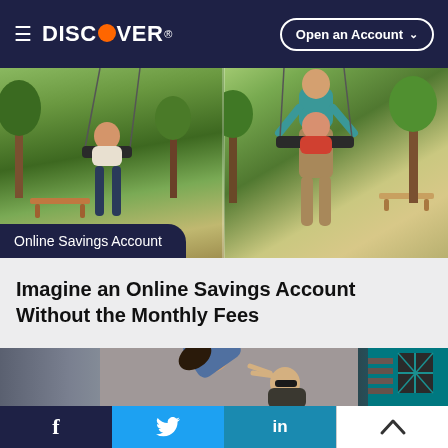DISCOVER — Open an Account
[Figure (photo): Hero photo showing a parent pushing a baby/toddler on a swing in a park, split into two scenes side by side.]
Online Savings Account
Imagine an Online Savings Account Without the Monthly Fees
[Figure (photo): Photo of a woman leaning over playfully while another person holds their hands up toward her face, outdoors in an urban setting.]
f  (Twitter bird)  in  (scroll to top)